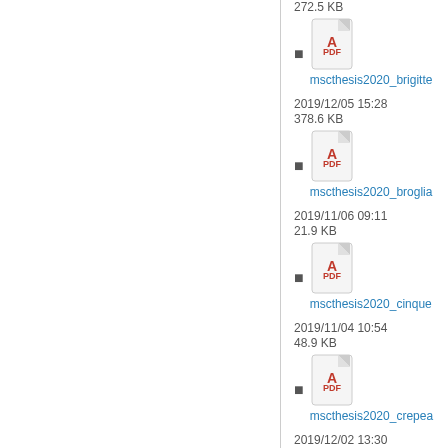272.5 KB
mscthesis2020_brigitte...
2019/12/05 15:28
378.6 KB
mscthesis2020_broglia...
2019/11/06 09:11
21.9 KB
mscthesis2020_cinque...
2019/11/04 10:54
48.9 KB
mscthesis2020_crepea...
2019/12/02 13:30
90.9 KB